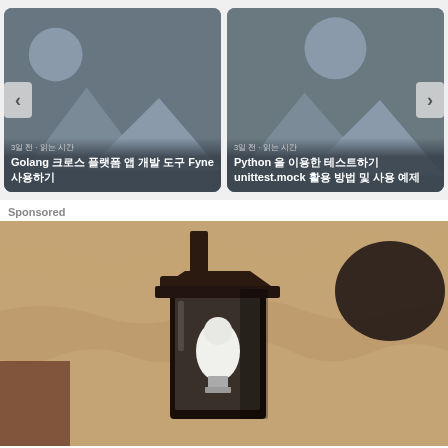[Figure (screenshot): Two article cards side by side with placeholder images (dark grey with mountain/person icon). Left card shows Korean text title about Golang and Fyne. Right card shows Python unittest.mock article title. Navigation arrows on left and right edges.]
Sponsored
[Figure (photo): Close-up photo of a wall-mounted black metal lantern with a white LED bulb, against a rough beige stucco wall, in sepia/warm tones.]